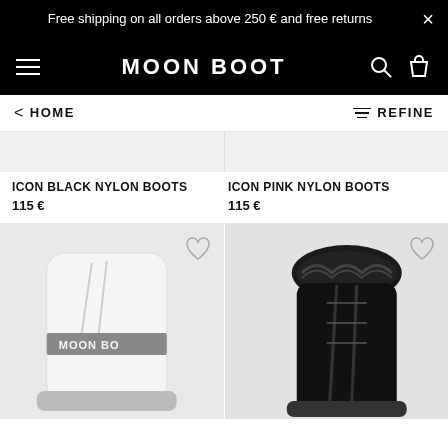Free shipping on all orders above 250 € and free returns
[Figure (logo): Moon Boot logo in white on black navigation bar with hamburger menu, search icon, and bag icon]
< HOME
REFINE
ICON BLACK NYLON BOOTS
115 €
ICON PINK NYLON BOOTS
115 €
[Figure (photo): White Moon Boot nylon boot shown from side angle on light grey background]
[Figure (photo): Black Moon Boot with fur/textile upper shown from side angle on light grey background]